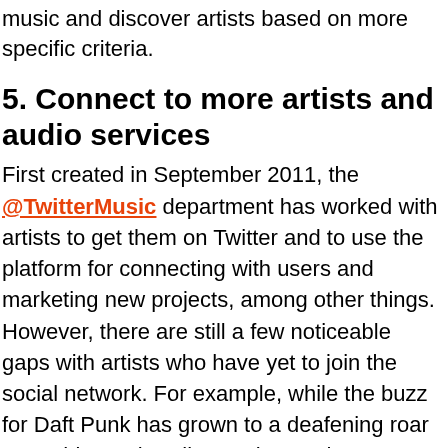music and discover artists based on more specific criteria.
5. Connect to more artists and audio services
First created in September 2011, the @TwitterMusic department has worked with artists to get them on Twitter and to use the platform for connecting with users and marketing new projects, among other things. However, there are still a few noticeable gaps with artists who have yet to join the social network. For example, while the buzz for Daft Punk has grown to a deafening roar up to this week's album release, they are completely invisible on Twitter #Music, regardless of